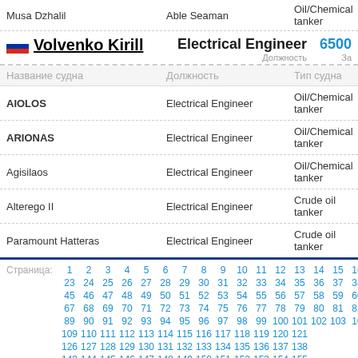Musa Dzhalil | Able Seaman | Oil/Chemical tanker
Volvenko Kirill | Electrical Engineer | 6500
| Название судна | Должность | Тип судна |
| --- | --- | --- |
| AIOLOS | Electrical Engineer | Oil/Chemical tanker |
| ARIONAS | Electrical Engineer | Oil/Chemical tanker |
| Agisilaos | Electrical Engineer | Oil/Chemical tanker |
| Alterego II | Electrical Engineer | Crude oil tanker |
| Paramount Hatteras | Electrical Engineer | Crude oil tanker |
Страница: 1 2 3 4 5 6 7 8 9 10 11 12 13 14 15 16 23 24 25 26 27 28 29 30 31 32 33 34 35 36 37 38 39 45 46 47 48 49 50 51 52 53 54 55 56 57 58 59 60 61 67 68 69 70 71 72 73 74 75 76 77 78 79 80 81 82 83 89 90 91 92 93 94 95 96 97 98 99 100 101 102 103 10 109 110 111 112 113 114 115 116 117 118 119 120 121 126 127 128 129 130 131 132 133 134 135 136 137 138 143 144 145 146 147 148 149 150 151 152 153 154 155 160 161 162 163 164 165 166 167 168 169 170 171 172